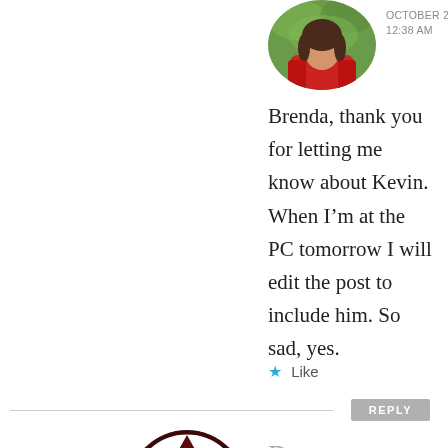[Figure (photo): Circular avatar of a person in a red top, partially visible at top]
OCTOBER 20, 2010 AT 12:38 AM
Brenda, thank you for letting me know about Kevin. When I'm at the PC tomorrow I will edit the post to include him. So sad, yes.
★ Like
REPLY
[Figure (logo): Circular avatar with dark maroon quilt-pattern / geometric block design]
Deanna
FEBRUARY 11, 2012 AT 12:20 AM
I am a bit late reading these older posts. This one made me laugh out